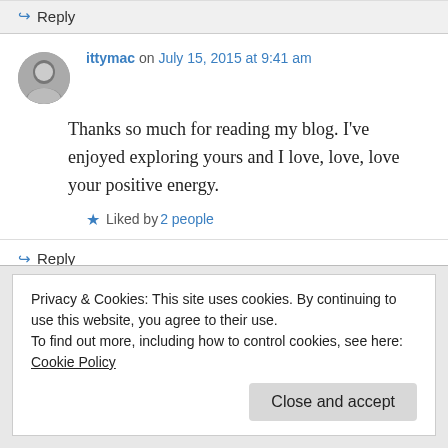↪ Reply
ittymac on July 15, 2015 at 9:41 am
Thanks so much for reading my blog. I've enjoyed exploring yours and I love, love, love your positive energy.
★ Liked by 2 people
↪ Reply
Privacy & Cookies: This site uses cookies. By continuing to use this website, you agree to their use.
To find out more, including how to control cookies, see here: Cookie Policy
Close and accept